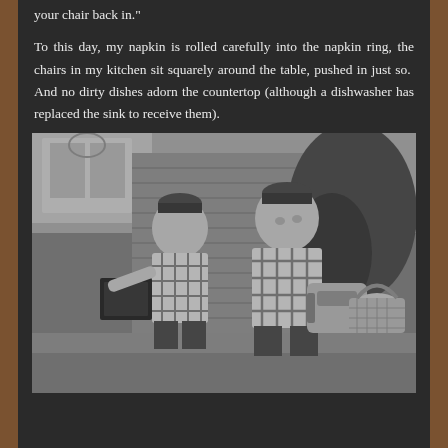your chair back in."
To this day, my napkin is rolled carefully into the napkin ring, the chairs in my kitchen sit squarely around the table, pushed in just so.  And no dirty dishes adorn the countertop (although a dishwasher has replaced the sink to receive them).
[Figure (photo): Vintage black and white photograph of two young boys in plaid shirts and caps, carrying school bags and a basket, running happily outside a brick house.]